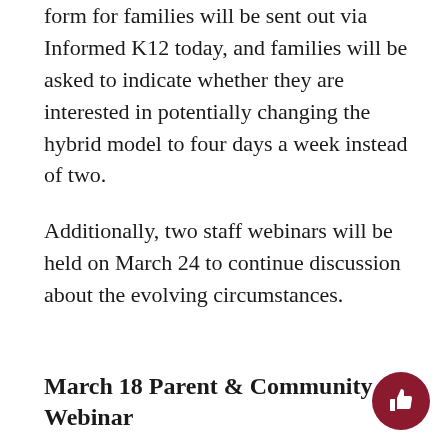form for families will be sent out via Informed K12 today, and families will be asked to indicate whether they are interested in potentially changing the hybrid model to four days a week instead of two.
Additionally, two staff webinars will be held on March 24 to continue discussion about the evolving circumstances.
March 18 Parent & Community Webinar
FUHSD hosted a Parent & Community Webinar to address questions and concerns about the evolving situation. Panelists included FUHSD Superintendent Polly Bove, Deputy Superintendent Graham Clarke and Associate Superintendents Trudy Gross and Tom Avvakumovitz.